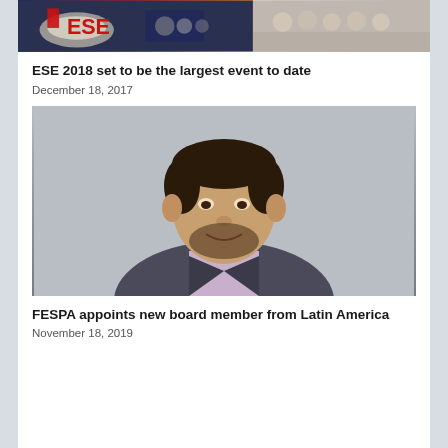[Figure (photo): Top banner split image: left side shows awards/trophies with red ESE branding; right side shows group of people at an event]
ESE 2018 set to be the largest event to date
December 18, 2017
[Figure (photo): Portrait photo of a man in a dark suit and light purple shirt, with short dark hair and beard, smiling, against a grey background]
FESPA appoints new board member from Latin America
November 18, 2019